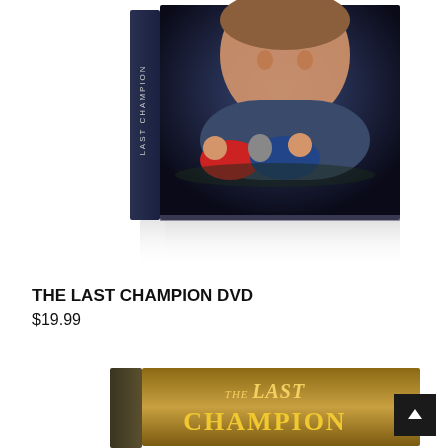[Figure (photo): DVD case for 'The Last Champion' showing a young man smiling at top and wrestlers competing below on a dark blue background, with spine text reading LAST CHAMPION]
THE LAST CHAMPION DVD
$19.99
[Figure (photo): Lower portion of a DVD case for 'The Last Champion' with gold/brown background showing title text 'THE LAST CHAMPION' in gold letters]